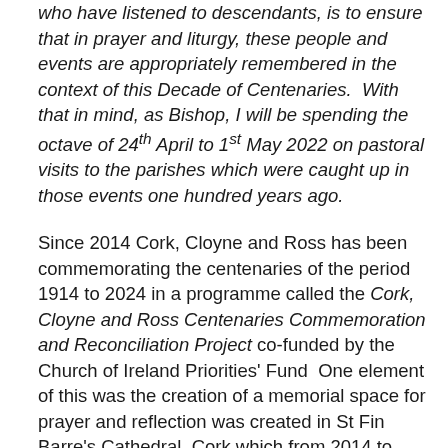who have listened to descendants, is to ensure that in prayer and liturgy, these people and events are appropriately remembered in the context of this Decade of Centenaries.  With that in mind, as Bishop, I will be spending the octave of 24th April to 1st May 2022 on pastoral visits to the parishes which were caught up in those events one hundred years ago.
Since 2014 Cork, Cloyne and Ross has been commemorating the centenaries of the period 1914 to 2024 in a programme called the Cork, Cloyne and Ross Centenaries Commemoration and Reconciliation Project co-funded by the Church of Ireland Priorities' Fund  One element of this was the creation of a memorial space for prayer and reflection was created in St Fin Barre's Cathedral, Cork which from 2014 to 2018 commemorated Cork people who were killed or wounded in the First World